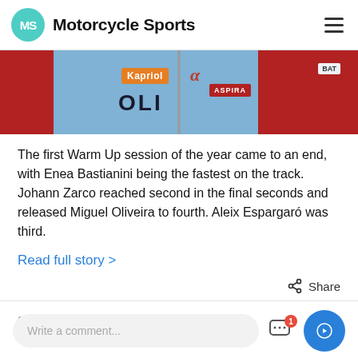MS Motorcycle Sports
[Figure (photo): Close-up of a motorcycle racing suit showing Kapriol, OLI, Aspira, and Alpinestars branding on a blue and red suit]
The first Warm Up session of the year came to an end, with Enea Bastianini being the fastest on the track. Johann Zarco reached second in the final seconds and released Miguel Oliveira to fourth. Aleix Espargaró was third.
Read full story >
Share
2022-02-18
Write a comment...